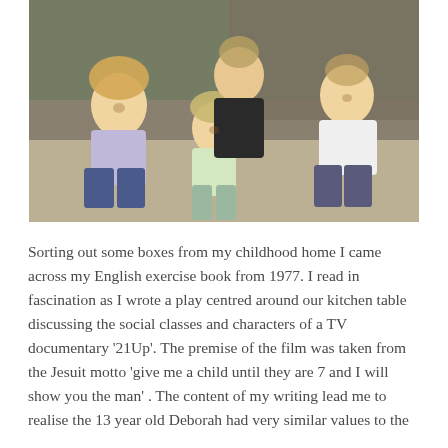[Figure (photo): A woman and three children (two girls and a boy) sitting together on a rocky beach, smiling at the camera. The children appear to be of varying ages. Rocky cliffs are visible in the background.]
Sorting out some boxes from my childhood home I came across my English exercise book from 1977. I read in fascination as I wrote a play centred around our kitchen table discussing the social classes and characters of a TV documentary '21Up'. The premise of the film was taken from the Jesuit motto 'give me a child until they are 7 and I will show you the man' . The content of my writing lead me to realise the 13 year old Deborah had very similar values to the